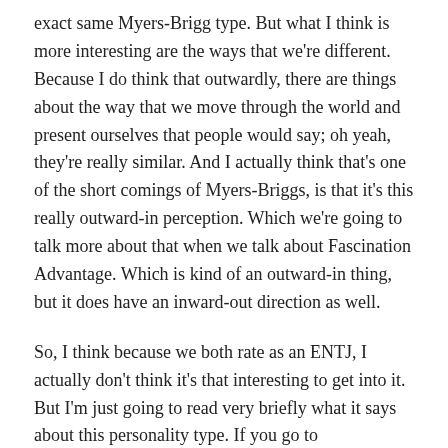exact same Myers-Brigg type. But what I think is more interesting are the ways that we're different. Because I do think that outwardly, there are things about the way that we move through the world and present ourselves that people would say; oh yeah, they're really similar. And I actually think that's one of the short comings of Myers-Briggs, is that it's this really outward-in perception. Which we're going to talk more about that when we talk about Fascination Advantage. Which is kind of an outward-in thing, but it does have an inward-out direction as well.
So, I think because we both rate as an ENTJ, I actually don't think it's that interesting to get into it. But I'm just going to read very briefly what it says about this personality type. If you go to 16personalities.com they call the ENTJ the Commander. And essentially it's like a very traditional leader. Someone in a leadership position. Someone with gifts of charisma and confidence that projects authority and draws a crowd together